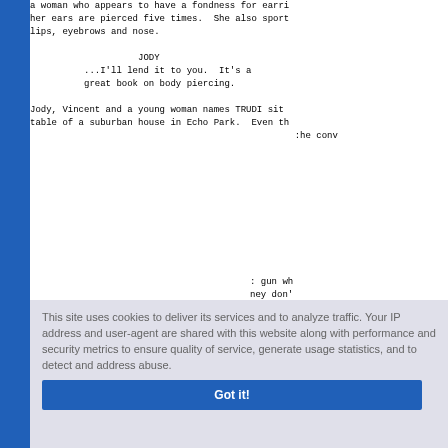a woman who appears to have a fondness for earrings --
her ears are pierced five times.  She also sports piercings in her
lips, eyebrows and nose.
JODY
...I'll lend it to you.  It's a
great book on body piercing.
Jody, Vincent and a young woman names TRUDI sit at the kitchen
table of a suburban house in Echo Park.  Even the...
This site uses cookies to deliver its services and to analyze traffic. Your IP address and user-agent are shared with this website along with performance and security metrics to ensure quality of service, generate usage statistics, and to detect and address abuse.
Learn more
Got it!
Vince has been letting this conversation go thro...